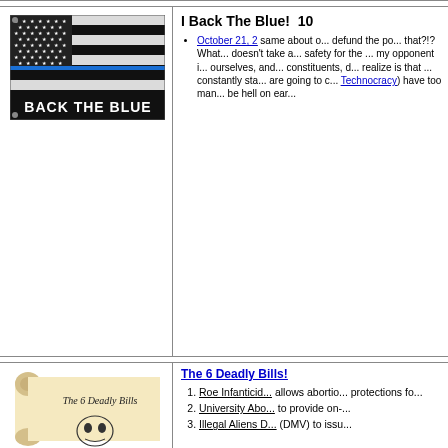[Figure (photo): Thin Blue Line American flag (black, white and blue) with text 'BACK THE BLUE' at the bottom]
I Back The Blue!  10...
October 21, 2... same about our defund the po... that?!? What... doesn't take a... safety for the ... my opponent i... ourselves, and... constituents, d... realize is that ... constantly sta... are going to c... Technocracy) have too man... be hell on ear...
[Figure (illustration): Scroll illustration reading 'The 6 Deadly Bills' with a skull image]
The 6 Deadly Bills!
Roe Infanticid... allows abortio... protections fo...
University Abo... to provide on-...
Illegal Aliens D... (DMV) to issu...